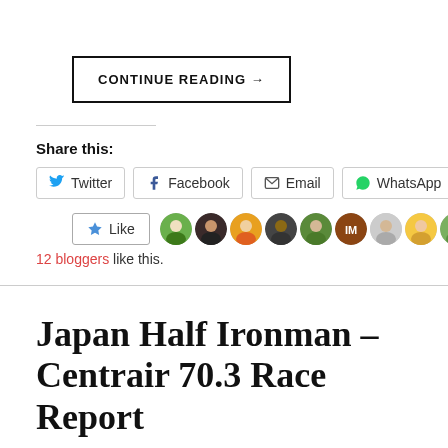CONTINUE READING →
Share this:
Twitter  Facebook  Email  WhatsApp
[Figure (other): Like button with star icon and 10 blogger avatar thumbnails]
12 bloggers like this.
Japan Half Ironman – Centrair 70.3 Race Report